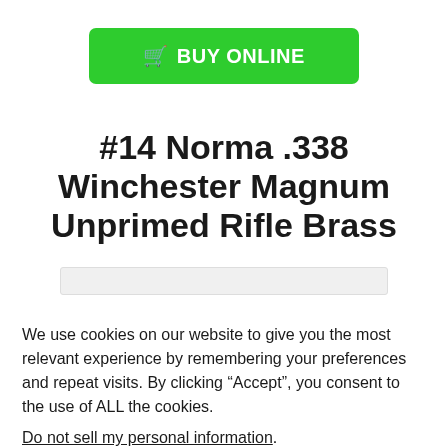[Figure (other): Green 'BUY ONLINE' button with shopping cart icon]
#14 Norma .338 Winchester Magnum Unprimed Rifle Brass
[Figure (other): Partial product image stub]
We use cookies on our website to give you the most relevant experience by remembering your preferences and repeat visits. By clicking “Accept”, you consent to the use of ALL the cookies.
Do not sell my personal information.
Cookie settings  ACCEPT